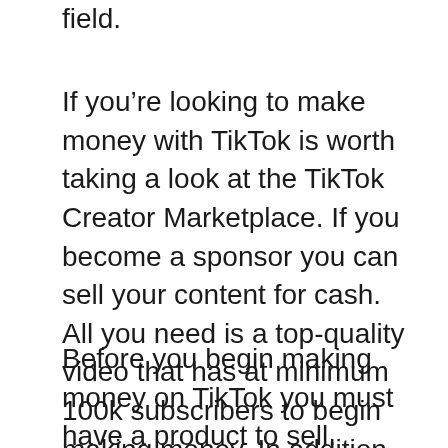field.
If you’re looking to make money with TikTok is worth taking a look at the TikTok Creator Marketplace. If you become a sponsor you can sell your content for cash. All you need is a top-quality video that has at minimum 100k subscribers to begin making money. In addition, TikTok creator marketplace also provides a business analytics tool for advertisers to evaluate their audience’s demographics as well as engagement levels.
Before you begin making money on TikTok you must have a product to sell. TikTok lets you broadcast your videos to millions of users. You can earn money by promoting merchandise and services. It’s a very well-